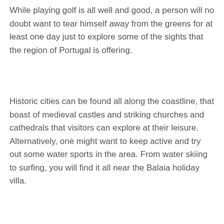While playing golf is all well and good, a person will no doubt want to tear himself away from the greens for at least one day just to explore some of the sights that the region of Portugal is offering.
Historic cities can be found all along the coastline, that boast of medieval castles and striking churches and cathedrals that visitors can explore at their leisure. Alternatively, one might want to keep active and try out some water sports in the area. From water skiing to surfing, you will find it all near the Balaia holiday villa.
Posted in Holidays 2013
Driving in Holland
Posted on October 2, 2013 by